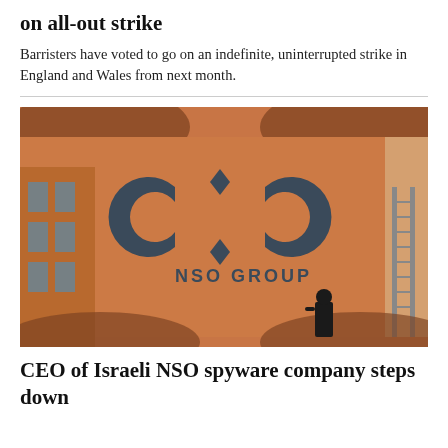on all-out strike
Barristers have voted to go on an indefinite, uninterrupted strike in England and Wales from next month.
[Figure (photo): NSO Group building exterior with large orange terracotta wall displaying the NSO Group logo (stylized circular arrows with diamond) and company name. A person in black stands near the base of the building. A metal ladder is visible on the right side.]
CEO of Israeli NSO spyware company steps down